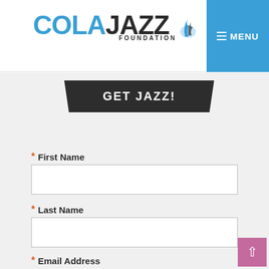COLAJAZZ FOUNDATION — MENU
GET JAZZ!
* First Name
* Last Name
* Email Address